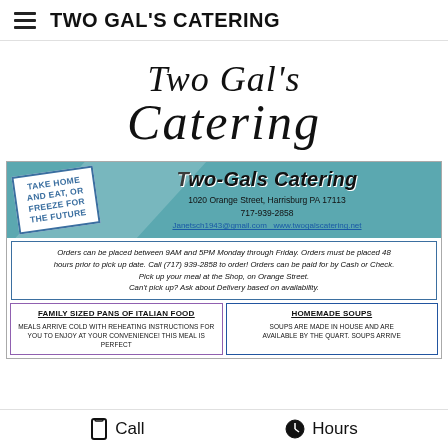TWO GAL'S CATERING
Two Gal's Catering
[Figure (infographic): Two-Gals Catering business flyer with stamp reading TAKE HOME AND EAT, OR FREEZE FOR THE FUTURE, address 1020 Orange Street, Harrisburg PA 17113, phone 717-939-2858, email Janetsch1943@gmail.com, website www.twogalscatering.net, ordering instructions, Family Sized Pans of Italian Food section, and Homemade Soups section]
Call    Hours